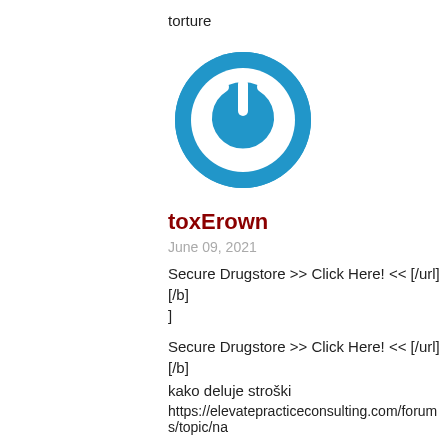torture
[Figure (logo): Blue circular power button logo icon]
toxErown
June 09, 2021
Secure Drugstore >> Click Here! << [/url]
[/b]
]
Secure Drugstore >> Click Here! << [/url]
[/b]
kako deluje stroški
https://elevatepracticeconsulting.com/forums/topic/na